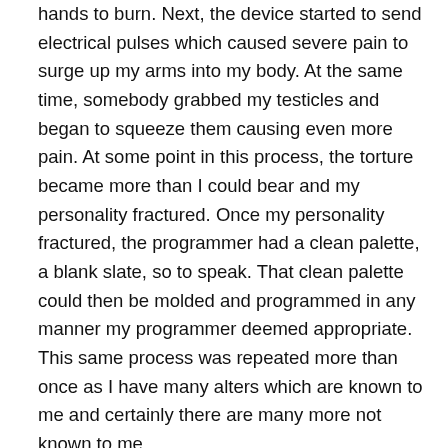hands to burn. Next, the device started to send electrical pulses which caused severe pain to surge up my arms into my body. At the same time, somebody grabbed my testicles and began to squeeze them causing even more pain. At some point in this process, the torture became more than I could bear and my personality fractured. Once my personality fractured, the programmer had a clean palette, a blank slate, so to speak. That clean palette could then be molded and programmed in any manner my programmer deemed appropriate. This same process was repeated more than once as I have many alters which are known to me and certainly there are many more not known to me.
It is my belief, through years of experience, I have alters which were not programmed. I can only estimate this was done to place distance between alters which were